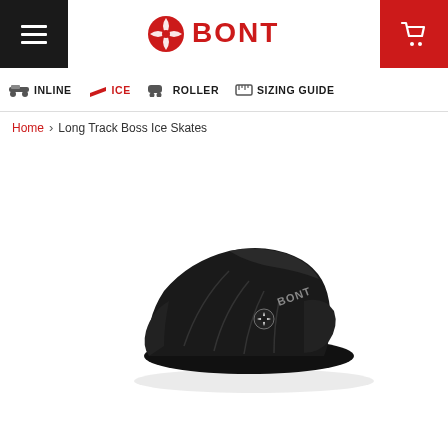BONT — Navigation header with hamburger menu, BONT logo, and cart icon
INLINE | ICE | ROLLER | SIZING GUIDE
Home › Long Track Boss Ice Skates
[Figure (photo): Black Bont Long Track Boss Ice Skate boot shown from a side angle on white background, featuring the Bont logo on the side.]